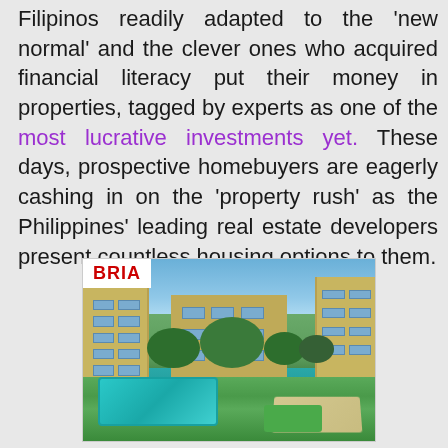Filipinos readily adapted to the 'new normal' and the clever ones who acquired financial literacy put their money in properties, tagged by experts as one of the most lucrative investments yet. These days, prospective homebuyers are eagerly cashing in on the 'property rush' as the Philippines' leading real estate developers present countless housing options to them.
[Figure (photo): Exterior rendering of BRIA residential development showing multi-story apartment buildings with a swimming pool, lawn areas, pathway, and trees between the buildings.]